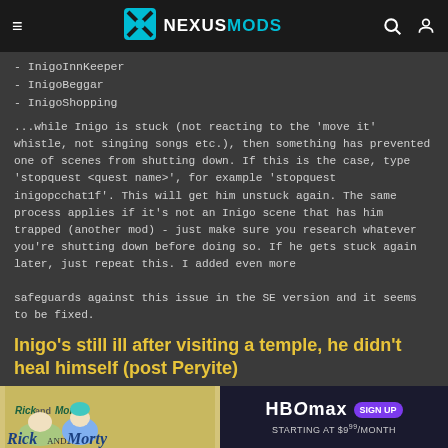NEXUSMODS
- InigoInnKeeper
- InigoBeggar
- InigoShopping
...while Inigo is stuck (not reacting to the 'move it' whistle, not singing songs etc.), then something has prevented one of scenes from shutting down. If this is the case, type 'stopquest <quest name>', for example 'stopquest inigopcchat1f'. This will get him unstuck again. The same process applies if it's not an Inigo scene that has him trapped (another mod) - just make sure you research whatever you're shutting down before doing so. If he gets stuck again later, just repeat this. I added even more safeguards against this issue in the SE version and it seems to be fixed.
Inigo's still ill after visiting a temple, he didn't heal himself (post Peryite)
First make sure you are giving him a chance to heal himself. Upon entering a temple don't talk to him. If all is well he'll tell you he's going to try to heal ... problems are cause ... n to heal so let him